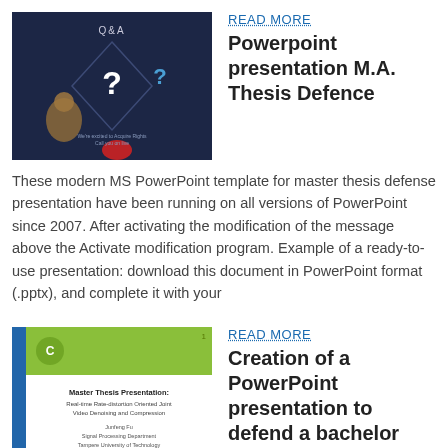[Figure (screenshot): Dark blue Q&A presentation slide with question mark graphics]
READ MORE
Powerpoint presentation M.A. Thesis Defence
These modern MS PowerPoint template for master thesis defense presentation have been running on all versions of PowerPoint since 2007. After activating the modification of the message above the Activate modification program. Example of a ready-to-use presentation: download this document in PowerPoint format (.pptx), and complete it with your
[Figure (screenshot): Master Thesis Presentation slide with green and blue header, title 'Real-time Rate-distortion Oriented Joint Video Denoising and Compression' by Junfeng Fu, Signal Processing Department, Tampere University of Technology]
READ MORE
Creation of a PowerPoint presentation to defend a bachelor